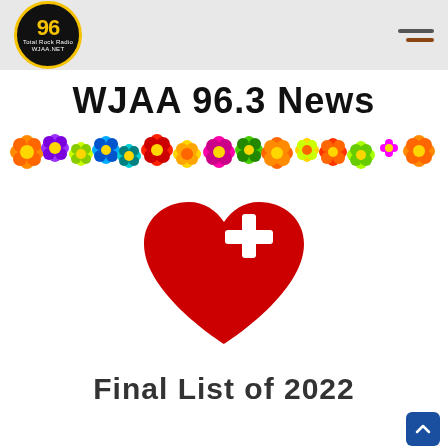WJAA 96 Total Rock Radio WJAA.NET
WJAA 96.3 News
[Figure (illustration): A decorative horizontal strip of colorful cartoon flowers in orange, purple, yellow, green, red, blue, and pink.]
[Figure (illustration): A large red heart with a white medical cross/plus sign in the upper right area of the heart.]
Final List of 2022